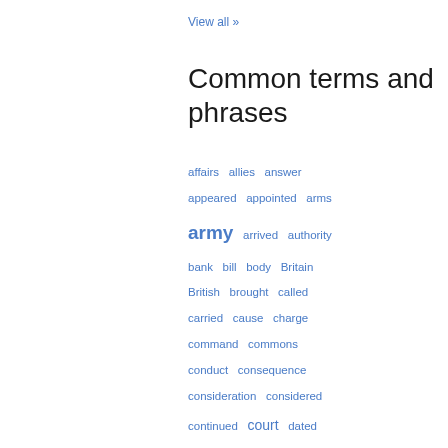View all »
Common terms and phrases
affairs  allies  answer  appeared  appointed  arms  army  arrived  authority  bank  bill  body  Britain  British  brought  called  carried  cause  charge  command  commons  conduct  consequence  consideration  considered  continued  court  dated  daughter  death  desire  duty  earl  emperor  enemy  engaged  England  English